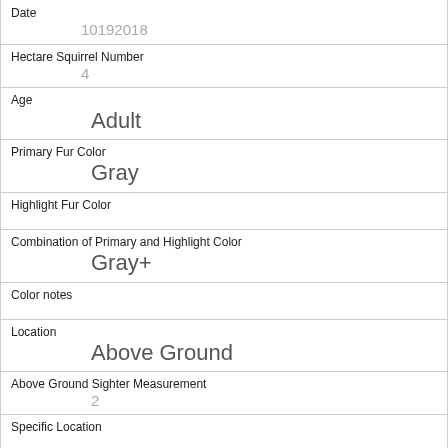Date
10192018
Hectare Squirrel Number
4
Age
Adult
Primary Fur Color
Gray
Highlight Fur Color
Combination of Primary and Highlight Color
Gray+
Color notes
Location
Above Ground
Above Ground Sighter Measurement
2
Specific Location